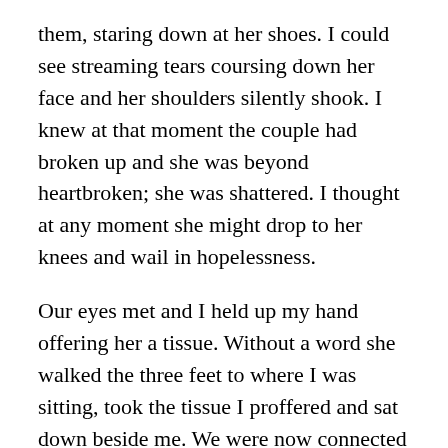them, staring down at her shoes. I could see streaming tears coursing down her face and her shoulders silently shook. I knew at that moment the couple had broken up and she was beyond heartbroken; she was shattered. I thought at any moment she might drop to her knees and wail in hopelessness.
Our eyes met and I held up my hand offering her a tissue. Without a word she walked the three feet to where I was sitting, took the tissue I proffered and sat down beside me. We were now connected yet we did not speak. I felt the need to console her but I decided to stay silent; if she wanted to say something to me she would.
Shoulders shaking, hands wringing, tears silently flowing. She tore at the tissue I gave her and I